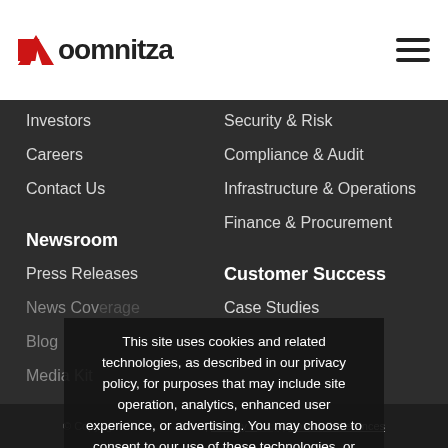Oomnitza
Investors
Security & Risk
Careers
Compliance & Audit
Contact Us
Infrastructure & Operations
Finance & Procurement
Newsroom
Customer Success
Press Releases
Case Studies
News Coverage
Blog
Media Kit
This site uses cookies and related technologies, as described in our privacy policy, for purposes that may include site operation, analytics, enhanced user experience, or advertising. You may choose to consent to our use of these technologies, or manage your own
Accept
© Copyright 2022 Oomnitza | Privacy Policy | Cookie Preferences